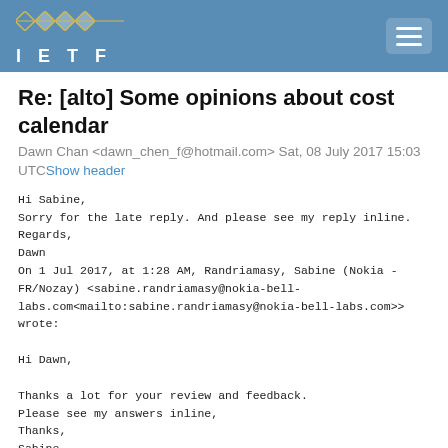[Figure (logo): IETF logo with diamond/network pattern graphic and letter spacing I E T F on blue header bar with hamburger menu icon]
Re: [alto] Some opinions about cost calendar
Dawn Chan <dawn_chen_f@hotmail.com> Sat, 08 July 2017 15:03 UTCShow header
Hi Sabine,
Sorry for the late reply. And please see my reply inline.
Regards,
Dawn
On 1 Jul 2017, at 1:28 AM, Randriamasy, Sabine (Nokia -
FR/Nozay) <sabine.randriamasy@nokia-bell-
labs.com<mailto:sabine.randriamasy@nokia-bell-labs.com>>
wrote:

Hi Dawn,

Thanks a lot for your review and feedback.
Please see my answers inline,
Thanks,
Sabine


From: Dawn Chan [mailto:dawn_chen_f@hotmail.com]